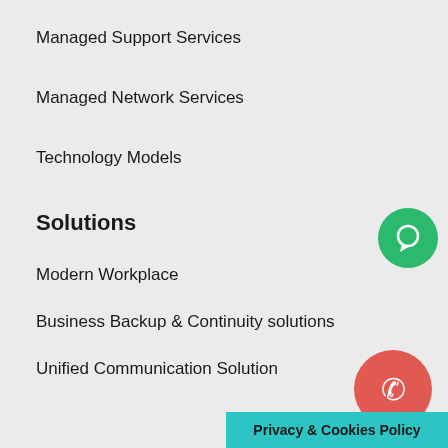Managed Support Services
Managed Network Services
Technology Models
Solutions
Modern Workplace
Business Backup & Continuity solutions
Unified Communication Solution
Dynamics 365
Security Intelligence as a Service
CISCO-Solutions
IT Disaster Recovery Solutions
[Figure (illustration): Green circle chat bubble icon]
[Figure (illustration): Red/coral circle phone icon]
Privacy & Cookies Policy